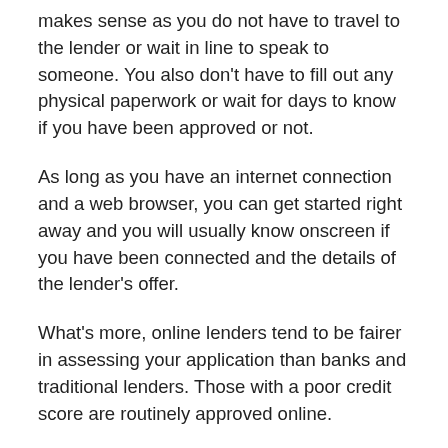makes sense as you do not have to travel to the lender or wait in line to speak to someone. You also don't have to fill out any physical paperwork or wait for days to know if you have been approved or not.
As long as you have an internet connection and a web browser, you can get started right away and you will usually know onscreen if you have been connected and the details of the lender's offer.
What's more, online lenders tend to be fairer in assessing your application than banks and traditional lenders. Those with a poor credit score are routinely approved online.
If you accept an offer, simply digitally sign the